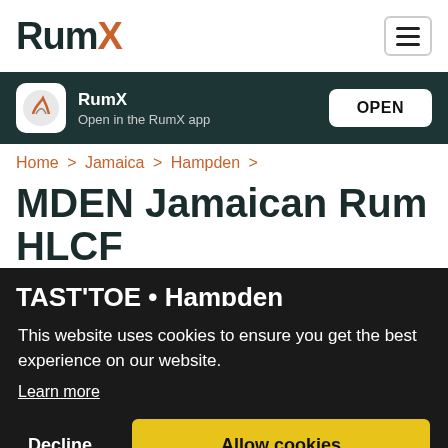RumX
RumX
Open in the RumX app
OPEN
Home > Jamaica > Hampden >
MDEN Jamaican Rum HLCF
TAST'TOE • Hampden
This website uses cookies to ensure you get the best experience on our website.
Learn more
Decline
Allow cookies